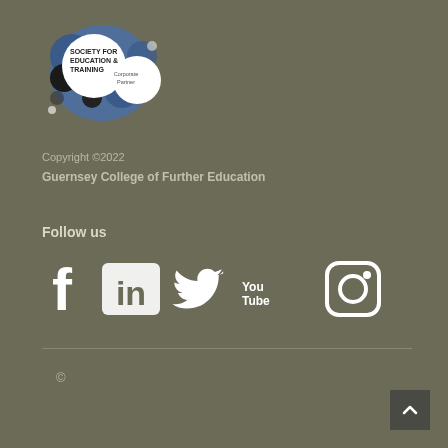[Figure (logo): Society for Education & Training Corporate Partner logo — circular design with black, white and blue bubble shapes, text reads SOCIETY FOR EDUCATION & TRAINING Corporate Partner]
Copyright ©2022
Guernsey College of Further Education
Follow us
[Figure (illustration): Row of social media icons: Facebook, LinkedIn, Twitter, YouTube, Instagram — all white on the grey background]
©